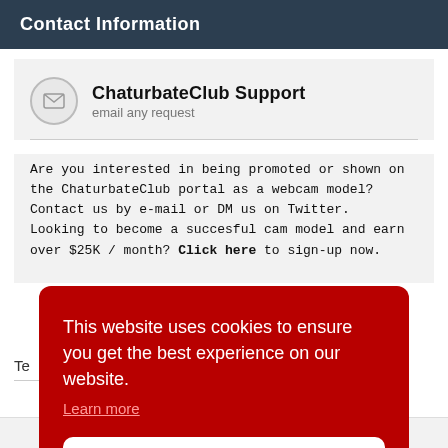Contact Information
ChaturbateClub Support
email any request
Are you interested in being promoted or shown on the ChaturbateClub portal as a webcam model? Contact us by e-mail or DM us on Twitter.
Looking to become a succesful cam model and earn over $25K / month? Click here to sign-up now.
This website uses cookies to ensure you get the best experience on our website.
Learn more
Got it!